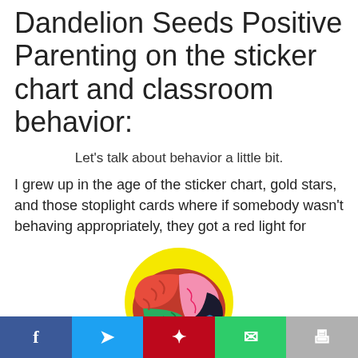Dandelion Seeds Positive Parenting on the sticker chart and classroom behavior:
Let's talk about behavior a little bit.
I grew up in the age of the sticker chart, gold stars, and those stoplight cards where if somebody wasn't behaving appropriately, they got a red light for
[Figure (illustration): Colorful illustration of a human brain with red, pink, green, teal, and blue sections, cradled by two teal hands, on a yellow circular background]
Facebook  Twitter  Pinterest  Email  Print